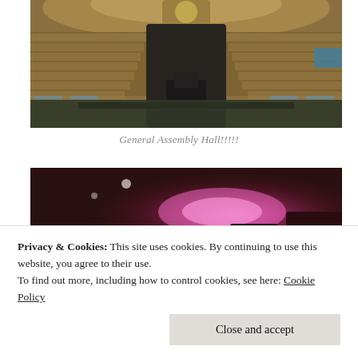[Figure (photo): Interior of the United Nations General Assembly Hall, showing curved rows of delegate seats and desks under a large domed ceiling, with the UN emblem visible at the front.]
General Assembly Hall!!!!!
[Figure (photo): A blurry, bokeh-style photo of a restaurant or bar interior with warm reddish-pink neon lighting and signage.]
Privacy & Cookies: This site uses cookies. By continuing to use this website, you agree to their use.
To find out more, including how to control cookies, see here: Cookie Policy
Close and accept